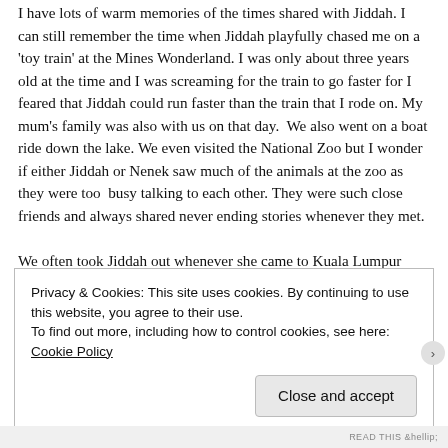I have lots of warm memories of the times shared with Jiddah. I can still remember the time when Jiddah playfully chased me on a 'toy train' at the Mines Wonderland. I was only about three years old at the time and I was screaming for the train to go faster for I feared that Jiddah could run faster than the train that I rode on. My mum's family was also with us on that day.  We also went on a boat ride down the lake. We even visited the National Zoo but I wonder if either Jiddah or Nenek saw much of the animals at the zoo as they were too  busy talking to each other. They were such close friends and always shared never ending stories whenever they met.
We often took Jiddah out whenever she came to Kuala Lumpur
Privacy & Cookies: This site uses cookies. By continuing to use this website, you agree to their use.
To find out more, including how to control cookies, see here: Cookie Policy
Close and accept